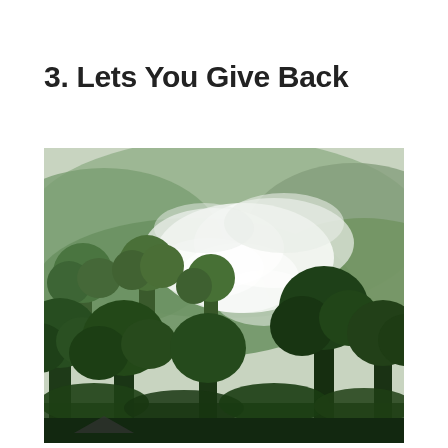3. Lets You Give Back
[Figure (photo): Misty tropical rainforest scene with green trees and white fog/mist rising among lush forested hills. Dark green trees in the foreground and background with white clouds of mist in the middle.]